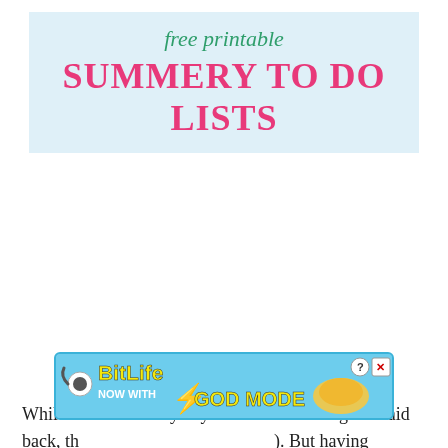free printable SUMMERY TO DO LISTS
While these summery days are more relaxing and laid back, th... ). But having ... en to
[Figure (other): BitLife advertisement overlay with 'NOW WITH GOD MODE' text, lightning bolt graphic, and pointing hand cartoon. Blue background with yellow text.]